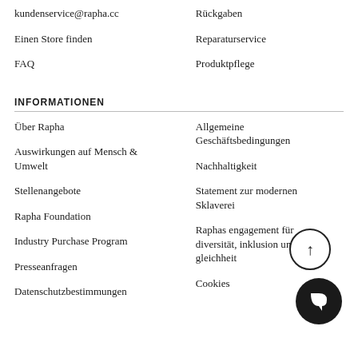kundenservice@rapha.cc
Rückgaben
Einen Store finden
Reparaturservice
FAQ
Produktpflege
INFORMATIONEN
Über Rapha
Allgemeine Geschäftsbedingungen
Auswirkungen auf Mensch & Umwelt
Nachhaltigkeit
Stellenangebote
Statement zur modernen Sklaverei
Rapha Foundation
Raphas engagement für diversität, inklusion und gleichheit
Industry Purchase Program
Cookies
Presseanfragen
Datenschutzbestimmungen